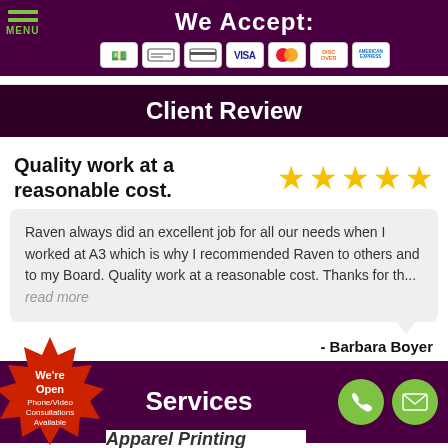[Figure (screenshot): Top navigation bar with hamburger menu (green lines, MENU label), 'We Accept:' title in white, and payment icons (cash, check/card icons, Visa, Mastercard, Discover, American Express) on dark purple background]
Client Review
Quality work at a reasonable cost.
[Figure (infographic): Five gold/yellow star rating icons]
Raven always did an excellent job for all our needs when I worked at A3 which is why I recommended Raven to others and to my Board. Quality work at a reasonable cost. Thanks for th... read more
- Barbara Boyer
[Figure (infographic): Red starburst badge with text: We're Open Phone/Video Consultations Available]
Services
Apparel Printing